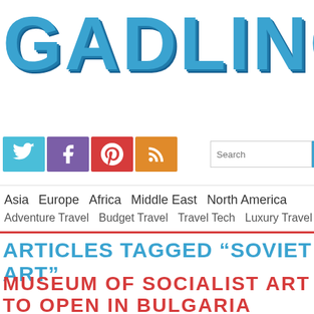GADLING
[Figure (logo): Gadling website logo in large bold blue letters with shadow effect]
[Figure (infographic): Social media icons: Twitter (blue bird), Facebook (purple f), Pinterest (red P), RSS (orange feed icon)]
Search
Asia
Europe
Africa
Middle East
North America
Adventure Travel
Budget Travel
Travel Tech
Luxury Travel
ARTICLES TAGGED "SOVIET ART"
MUSEUM OF SOCIALIST ART TO OPEN IN BULGARIA